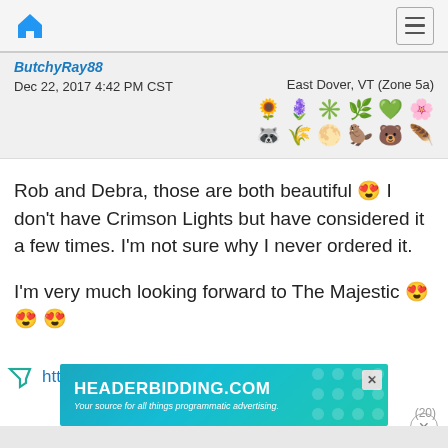Navigation bar with home icon and hamburger menu
ButchyRay88
Dec 22, 2017 4:42 PM CST
East Dover, VT (Zone 5a)
[Figure (other): Row of nature/garden emoji icons: sunflower, iris, star, herb, green heart, flower, raccoon, wheat, sun, bear/owl, bear, hummingbird]
Rob and Debra, those are both beautiful 😍 I don't have Crimson Lights but have considered it a few times. I'm not sure why I never ordered it.

I'm very much looking forward to The Majestic 😍 😍 😍
https://www.suttoniris.com/col...
[Figure (screenshot): Ad banner for HEADERBIDDING.COM with text 'Your source for all things programmatic advertising.']